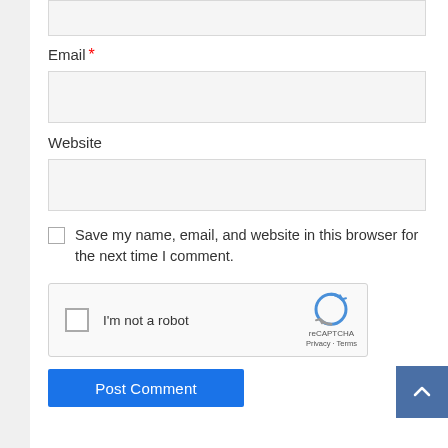[Figure (screenshot): Partial input field at the top of the page (truncated)]
Email *
[Figure (screenshot): Email input text field (empty)]
Website
[Figure (screenshot): Website input text field (empty)]
Save my name, email, and website in this browser for the next time I comment.
[Figure (screenshot): reCAPTCHA widget with checkbox and 'I'm not a robot' text, reCAPTCHA logo, Privacy and Terms links]
[Figure (screenshot): Post Comment button (blue, partially visible at bottom)]
[Figure (screenshot): Scroll-to-top button (blue square with upward chevron arrow)]